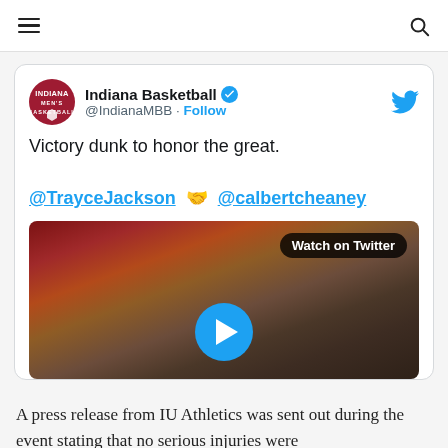Navigation bar with hamburger menu and search icon
[Figure (screenshot): Embedded tweet from Indiana Basketball (@IndianaMBB) with text 'Victory dunk to honor the great. @TrayceJackson 🤝 @calbertcheaney' and a video thumbnail showing a basketball arena crowd with a Watch on Twitter badge and play button]
A press release from IU Athletics was sent out during the event stating that no serious injuries were